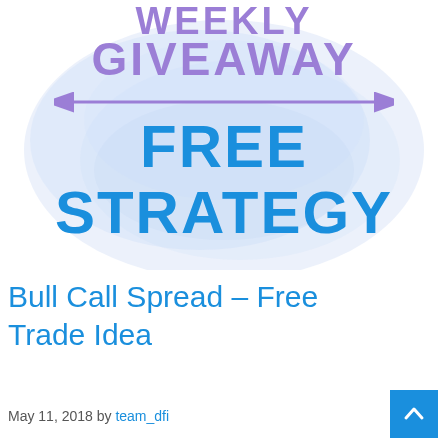[Figure (illustration): Weekly Giveaway promotional banner with cloud/watercolor background, purple text reading WEEKLY GIVEAWAY with a double-headed arrow, and large bold blue text reading FREE STRATEGY]
Bull Call Spread – Free Trade Idea
May 11, 2018 by team_dfi